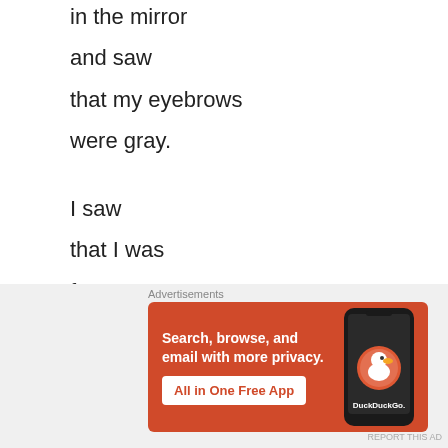in the mirror
and saw
that my eyebrows
were gray.
I saw
that I was
forty.
Painter Alexander Melamid, quoted in Forty-One False Starts by Janet Malcolm (Granta Books, 2014). Submitted by Howie Good.
[Figure (other): DuckDuckGo advertisement banner: orange background with text 'Search, browse, and email with more privacy. All in One Free App' and a phone image with DuckDuckGo logo.]